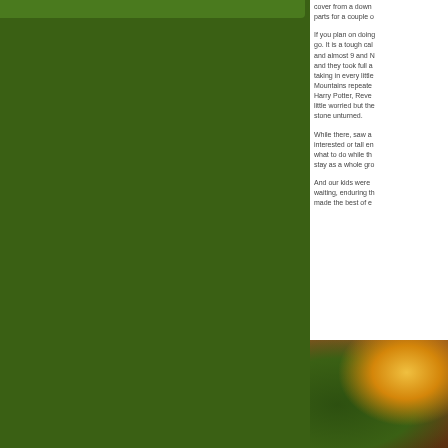[Figure (photo): Green panel on left side of page, partial view of a colorful theme park or attraction area]
cover from a down parts for a couple o
If you plan on doing go. It is a tough cal and almost 9 and N and they took full a taking in every little Mountains repeate Harry Potter, Reve little worried but the stone unturned.
While there, saw a interested or tall en what to do while th stay as a whole gro
And our kids were waiting, enduring th made the best of e
[Figure (photo): Partial photo showing yellow ride vehicle and foliage at a theme park]